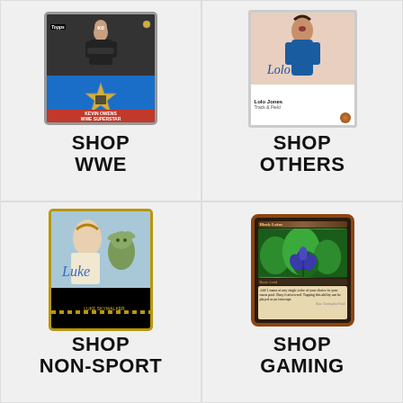[Figure (photo): Wrestling collectible card (WWE) featuring a male wrestler in black sleeveless shirt with arms crossed, yellow star relic cutout, red name bar at bottom, blue stripe at bottom of card]
SHOP WWE
[Figure (photo): Topps trading card featuring a female track and field athlete (Lolo Jones), autographed, with bronze medal emblem]
SHOP OTHERS
[Figure (photo): Star Wars autograph card featuring Luke Skywalker with Yoda in background, gold honeycomb border, blue autograph signature, black bottom panel with character name]
SHOP NON-SPORT
[Figure (photo): Magic: The Gathering card (Black Lotus) showing blue lotus flower on green background, brown border, text box with card rules text]
SHOP GAMING